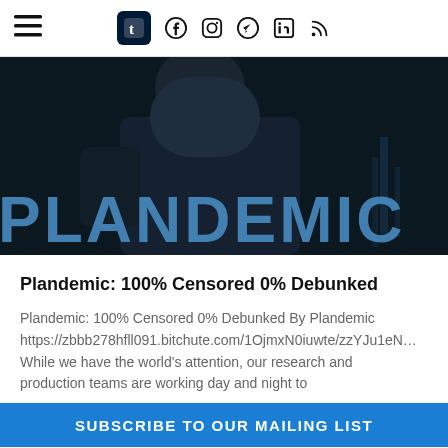Navigation header with hamburger menu and social icons: Tumblr, Facebook, Instagram, Telegram, LinkedIn, RSS
[Figure (photo): Dark background promotional image for 'Plandemic' showing a person in dark clothing with large blue text 'PLANDEMIC' overlaid]
Plandemic: 100% Censored 0% Debunked
Plandemic: 100% Censored 0% Debunked By Plandemic https://zbbb278hfll091.bitchute.com/1OjmxN0iuwte/zzYJu1eN… While we have the world's attention, our research and production teams are working day and night to
669 total views
READ MORE »
SUBSCRIBE TO OUR MAILING LIST